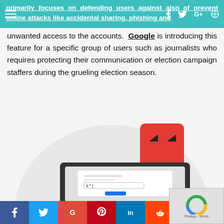primarily focuses on defending users against also of prevent online attacks like accidental sharing, phishing and
unwanted access to the accounts. Google is introducing this feature for a specific group of users such as journalists who requires protecting their communication or election campaign staffers during the grueling election season.
[Figure (illustration): Illustration of a laptop/tablet device showing a login screen with password field (k* shown), and a red villain/hacker character (red square with menacing eyes) hovering above. The background shows a large light grey semicircle. This represents account security/hacking concept.]
f  twitter  G  pinterest  in  reddit  email